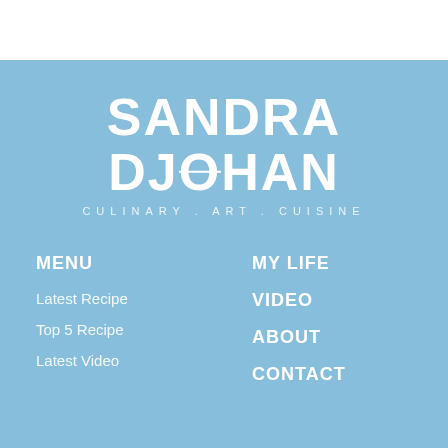[Figure (logo): Sandra Djohan - Culinary Art Cuisine logo in white text on light blue background]
MENU
MY LIFE
Latest Recipe
VIDEO
Top 5 Recipe
ABOUT
Latest Video
CONTACT